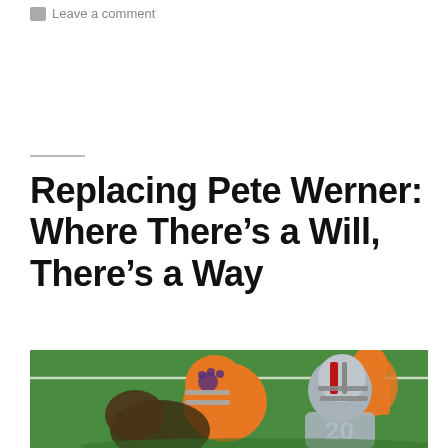Leave a comment
Replacing Pete Werner: Where There’s a Will, There’s a Way
[Figure (photo): Football game action shot showing Ohio State and Clemson players in a tackle/blocking situation on a green field, with players wearing orange Clemson helmets and grey Ohio State helmets.]